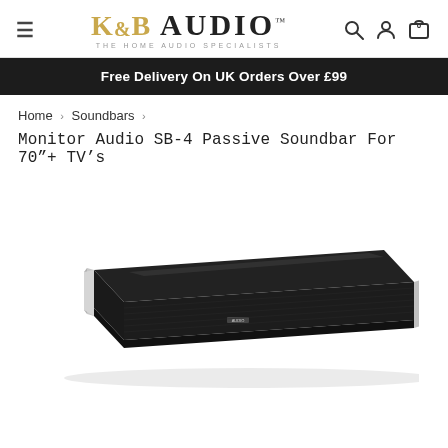K&B AUDIO™ THE HOME AUDIO SPECIALISTS
Free Delivery On UK Orders Over £99
Home > Soundbars >
Monitor Audio SB-4 Passive Soundbar For 70"+ TV's
[Figure (photo): Monitor Audio SB-4 passive soundbar, long slim black unit with silver end caps, shown at an angle on white background]